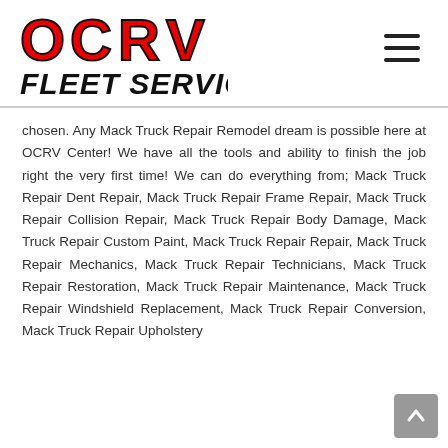OCRV FLEET SERVICES
chosen. Any Mack Truck Repair Remodel dream is possible here at OCRV Center! We have all the tools and ability to finish the job right the very first time! We can do everything from; Mack Truck Repair Dent Repair, Mack Truck Repair Frame Repair, Mack Truck Repair Collision Repair, Mack Truck Repair Body Damage, Mack Truck Repair Custom Paint, Mack Truck Repair Repair, Mack Truck Repair Mechanics, Mack Truck Repair Technicians, Mack Truck Repair Restoration, Mack Truck Repair Maintenance, Mack Truck Repair Windshield Replacement, Mack Truck Repair Conversion, Mack Truck Repair Upholstery...